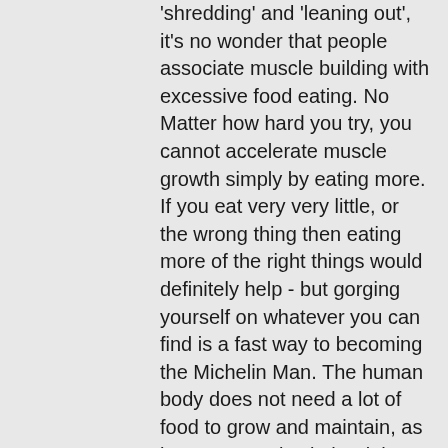'shredding' and 'leaning out', it's no wonder that people associate muscle building with excessive food eating. No Matter how hard you try, you cannot accelerate muscle growth simply by eating more. If you eat very very little, or the wrong thing then eating more of the right things would definitely help - but gorging yourself on whatever you can find is a fast way to becoming the Michelin Man. The human body does not need a lot of food to grow and maintain, as long as you give it the right things. Learn more about what your body needs here.
2. Relying Too Much On Nutrition
An Optimal Diet alone never gave anyone their desired physique. Sure it